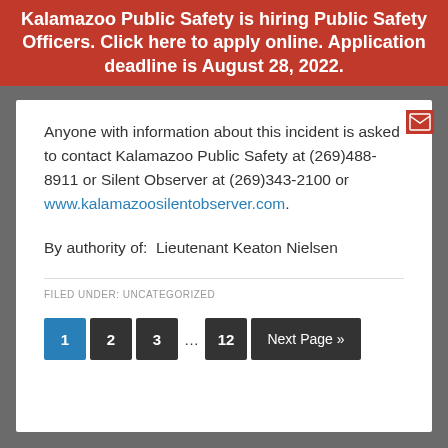Kalamazoo Public Safety is hiring Public Safety Officers. Click here to apply online. Application deadline is August 28, 2022.
Anyone with information about this incident is asked to contact Kalamazoo Public Safety at (269)488-8911 or Silent Observer at (269)343-2100 or www.kalamazoosilentobserver.com.
By authority of:  Lieutenant Keaton Nielsen
FILED UNDER: UNCATEGORIZED